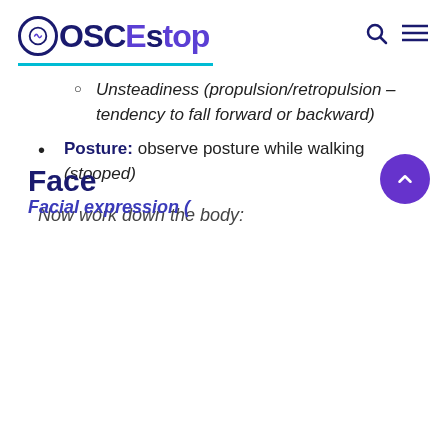OSCEstop
Unsteadiness (propulsion/retropulsion – tendency to fall forward or backward)
Posture: observe posture while walking (stooped)
Now work down the body:
Face
Facial expression (truncated)